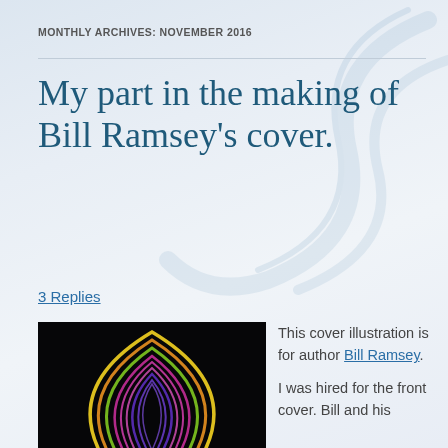MONTHLY ARCHIVES: NOVEMBER 2016
My part in the making of Bill Ramsey's cover.
3 Replies
[Figure (photo): Abstract light painting photograph on black background showing curved streaks of colorful light — yellow, green, pink/magenta, purple — forming a tall arch or teardrop shape.]
This cover illustration is for author Bill Ramsey. I was hired for the front cover. Bill and his